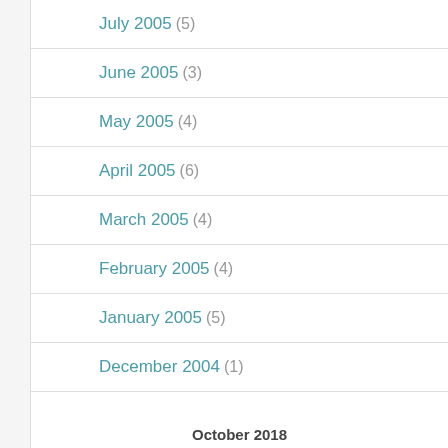July 2005 (5)
June 2005 (3)
May 2005 (4)
April 2005 (6)
March 2005 (4)
February 2005 (4)
January 2005 (5)
December 2004 (1)
October 2018